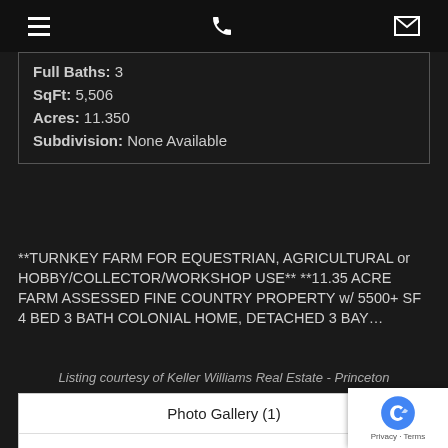Navigation bar with hamburger menu, phone icon, and mail icon
| Full Baths: | 3 |
| SqFt: | 5,506 |
| Acres: | 11.350 |
| Subdivision: | None Available |
**TURNKEY FARM FOR EQUESTRIAN, AGRICULTURAL or HOBBY/COLLECTOR/WORKSHOP USE** **11.35 ACRE FARM ASSESSED FINE COUNTRY PROPERTY w/ 5500+ SF 4 BED 3 BATH COLONIAL HOME, DETACHED 3 BAY...
Listing courtesy of Keller Williams Real Estate - Princeton
Photo Gallery (1)
Add to Favorites
View Details